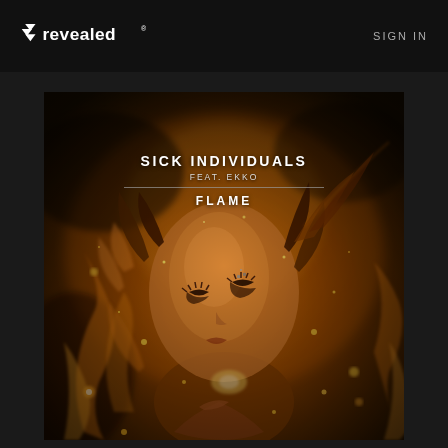revealed SIGN IN
[Figure (illustration): Album artwork for 'Flame' by Sick Individuals feat. Ekko. A woman with closed eyes, glowing skin, surrounded by golden fire, flames and sparks on a dark background. Warm orange and gold tones dominate the image.]
SICK INDIVIDUALS
FEAT. EKKO
FLAME